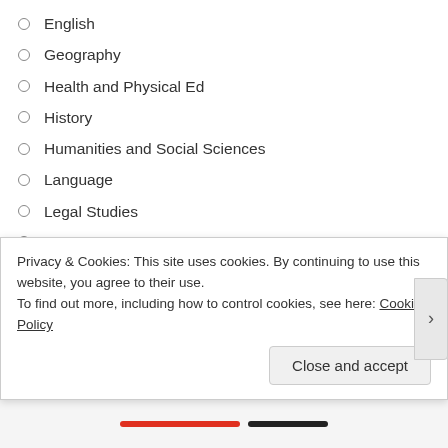English
Geography
Health and Physical Ed
History
Humanities and Social Sciences
Language
Legal Studies
Maths
Media
Music
Physics
Psychology
Visual Arts
Privacy & Cookies: This site uses cookies. By continuing to use this website, you agree to their use. To find out more, including how to control cookies, see here: Cookie Policy
Close and accept